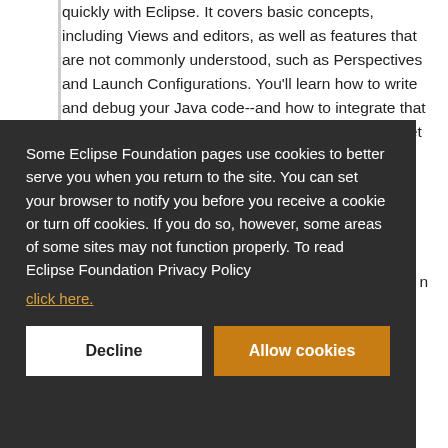quickly with Eclipse. It covers basic concepts, including Views and editors, as well as features that are not commonly understood, such as Perspectives and Launch Configurations. You'll learn how to write and debug your Java code--and how to integrate that code with tools such as Ant and JUnit. You'll also get a
Some Eclipse Foundation pages use cookies to better serve you when you return to the site. You can set your browser to notify you before you receive a cookie or turn off cookies. If you do so, however, some areas of some sites may not function properly. To read Eclipse Foundation Privacy Policy click here.
to introduce custom editor behavior.